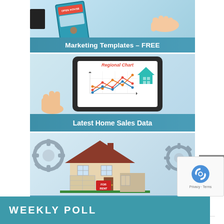[Figure (illustration): Banner image for Marketing Templates - FREE. Shows a teal phone card with OPEN HOUSE header and a hand holding it, with dark rectangle on left. Teal/blue gradient background.]
[Figure (illustration): Banner image for Latest Home Sales Data. Shows a tablet held by a hand displaying a regional chart with line graph and teal house icon.]
[Figure (illustration): Banner image for Property Management 101. Shows a house with FOR RENT sign, gear icons in background, blue sky setting.]
WEEKLY POLL